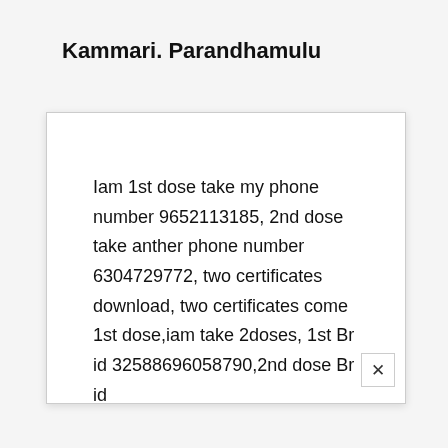Kammari. Parandhamulu
Iam 1st dose take my phone number 9652113185, 2nd dose take anther phone number 6304729772, two certificates download, two certificates come 1st dose,iam take 2doses, 1st Br id 32588696058790,2nd dose Br id